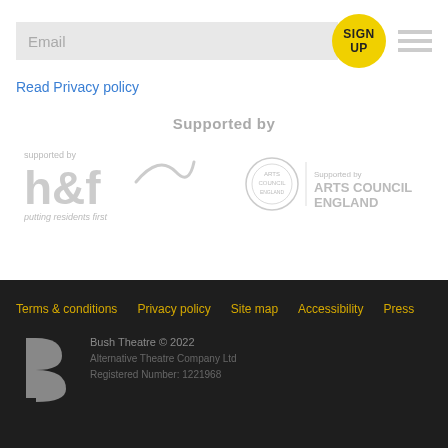Email
SIGN UP
Read Privacy policy
Supported by
[Figure (logo): Hammersmith & Fulham council logo: 'supported by h&f putting residents first' in grey]
[Figure (logo): Arts Council England logo: circular badge with 'Supported by ARTS COUNCIL ENGLAND' in grey]
Terms & conditions   Privacy policy   Site map   Accessibility   Press
[Figure (logo): Bush Theatre 'b' logo in grey]
Bush Theatre © 2022
Alternative Theatre Company Ltd
Registered Number: 1221968